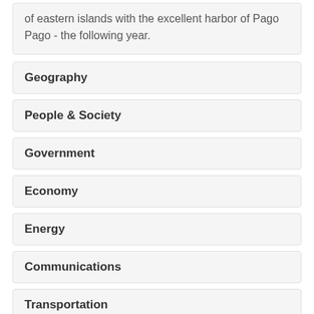of eastern islands with the excellent harbor of Pago Pago - the following year.
Geography
People & Society
Government
Economy
Energy
Communications
Transportation
Military & Security